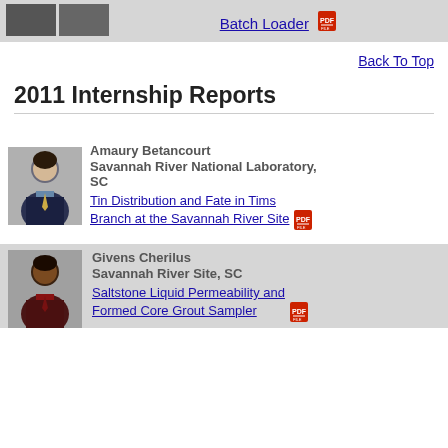[Figure (photo): Top banner with two small headshot thumbnails and a 'Batch Loader' PDF link]
Back To Top
2011 Internship Reports
[Figure (photo): Headshot photo of Amaury Betancourt, male, dark hair, wearing suit]
Amaury Betancourt
Savannah River National Laboratory, SC
Tin Distribution and Fate in Tims Branch at the Savannah River Site
[Figure (photo): Headshot photo of Givens Cherilus, male, wearing dark red top]
Givens Cherilus
Savannah River Site, SC
Saltstone Liquid Permeability and Formed Core Grout Sampler